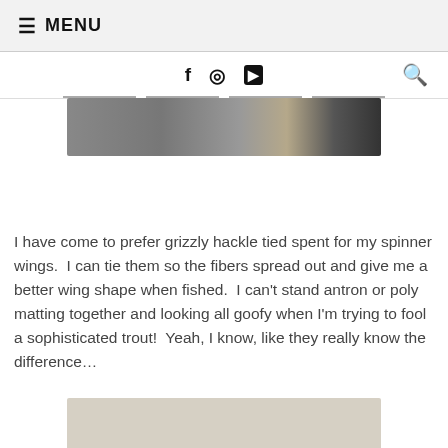☰ MENU
[Figure (screenshot): Social media icons: Facebook (f), Instagram, YouTube, and a search magnifying glass icon on the right, in a navigation bar]
[Figure (photo): Close-up photo of what appears to be a fly-tying vise or fishing tackle equipment with metallic surfaces]
I have come to prefer grizzly hackle tied spent for my spinner wings.  I can tie them so the fibers spread out and give me a better wing shape when fished.  I can't stand antron or poly matting together and looking all goofy when I'm trying to fool a sophisticated trout!  Yeah, I know, like they really know the difference...
[Figure (photo): Partial bottom photo showing a beige/tan background, likely another fly-tying or fishing-related image cropped at the page bottom]